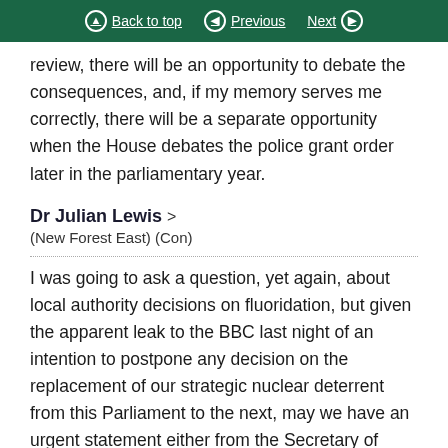Back to top | Previous | Next
review, there will be an opportunity to debate the consequences, and, if my memory serves me correctly, there will be a separate opportunity when the House debates the police grant order later in the parliamentary year.
Dr Julian Lewis > (New Forest East) (Con)
I was going to ask a question, yet again, about local authority decisions on fluoridation, but given the apparent leak to the BBC last night of an intention to postpone any decision on the replacement of our strategic nuclear deterrent from this Parliament to the next, may we have an urgent statement either from the Secretary of State for Defence—who will